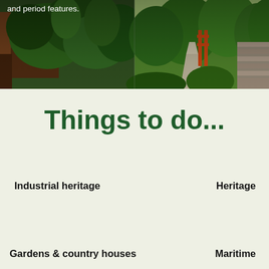[Figure (photo): Two garden/outdoor photos side by side showing lush green plants, a wooden fence, stone path, and hedges.]
and period features.
Things to do...
Industrial heritage
Heritage
Gardens & country houses
Maritime